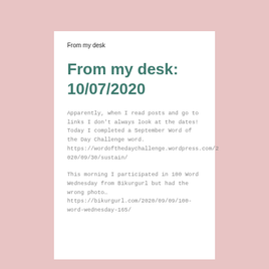From my desk
From my desk: 10/07/2020
Apparently, when I read posts and go to links I don't always look at the dates! Today I completed a September Word of the Day Challenge word. https://wordofthedaychallenge.wordpress.com/2020/09/30/sustain/
This morning I participated in 100 Word Wednesday from Bikurgurl but had the wrong photo…https://bikurgurl.com/2020/09/09/100-word-wednesday-165/